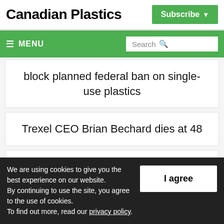Canadian Plastics
Subscribe
≡ MENU | Search
block planned federal ban on single-use plastics
Trexel CEO Brian Bechard dies at 48
Feds consulting on new rules for recyclability and composting to reduce
We are using cookies to give you the best experience on our website.
By continuing to use the site, you agree to the use of cookies.
To find out more, read our privacy policy.
I agree